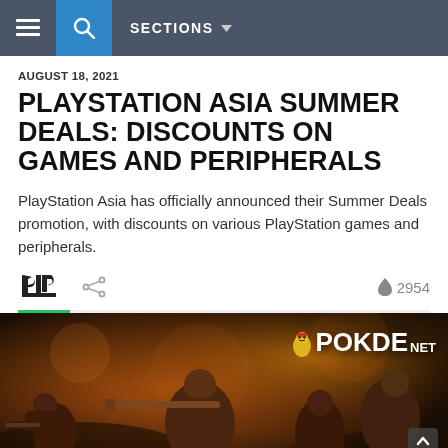≡ 🔍 SECTIONS ▾
AUGUST 18, 2021
PLAYSTATION ASIA SUMMER DEALS: DISCOUNTS ON GAMES AND PERIPHERALS
PlayStation Asia has officially announced their Summer Deals promotion, with discounts on various PlayStation games and peripherals.
[Figure (screenshot): Article metadata row with PlayStation logo, share icon, and 2954 views count with fire icon]
[Figure (photo): Game promotional image showing armed soldiers/characters in a post-apocalyptic battlefield setting with warm orange tones. POKDE.NET watermark visible in top right corner.]